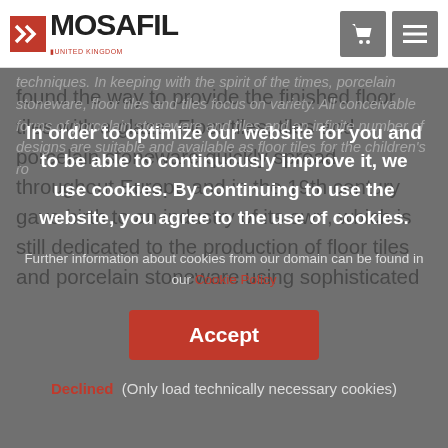MOSAFIL UNITED KINGDOM
found the way to provide the finished floor tiles with a glaze. Floor tiles, tiles and porcelain stoneware quickly spread throughout Europe and in the 19th century gave birth to an industry of its own, which is still dedicated to the production of floor tiles and porcelain stoneware using sophisticated techniques. In keeping with the spirit of the times, porcelain stoneware, floor tiles and tiles focus on variety. All conceivable forms of porcelain stoneware and tiles and an infinite number of designs are suitable and available as floor tiles for the children's ro
In order to optimize our website for you and to be able to continuously improve it, we use cookies. By continuing to use the website, you agree to the use of cookies.
Further information about cookies from our domain can be found in our Cookie Policy
Accept
Declined (Only load technically necessary cookies)